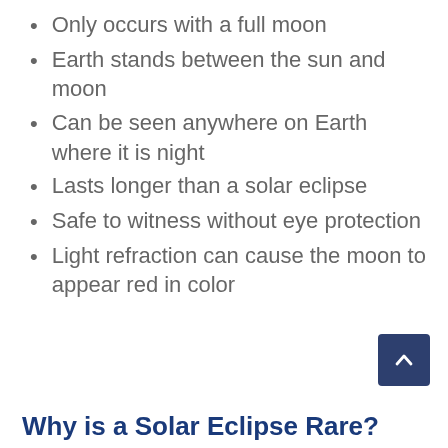Only occurs with a full moon
Earth stands between the sun and moon
Can be seen anywhere on Earth where it is night
Lasts longer than a solar eclipse
Safe to witness without eye protection
Light refraction can cause the moon to appear red in color
Why is a Solar Eclipse Rare?